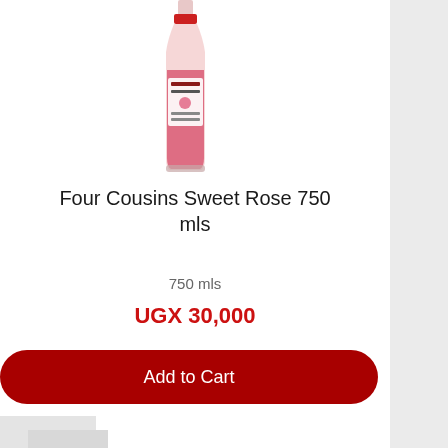[Figure (photo): A bottle of Four Cousins Sweet Rose wine, 750ml, with a pink/red label and red-tinted wine visible through the glass bottle.]
Four Cousins Sweet Rose 750 mls
750 mls
UGX 30,000
Add to Cart